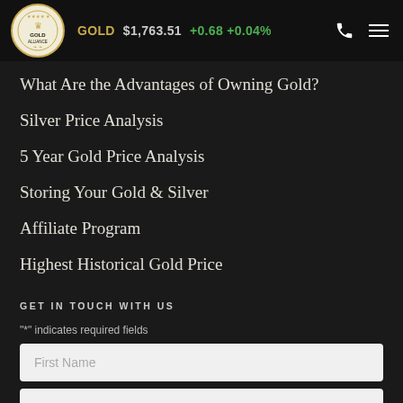GOLD $1,763.51 +0.68 +0.04%
What Are the Advantages of Owning Gold?
Silver Price Analysis
5 Year Gold Price Analysis
Storing Your Gold & Silver
Affiliate Program
Highest Historical Gold Price
GET IN TOUCH WITH US
"*" indicates required fields
First Name